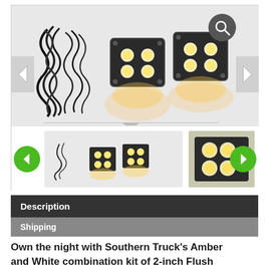[Figure (photo): Product image gallery showing Southern Truck's Amber and White LED flush mount light kit. Main image shows two square LED lights with amber illumination and wiring harness. Below are thumbnail images including a close-up of the LED light. Navigation arrows and green circle prev/next buttons are visible. A search/zoom icon is in the top right of the main image.]
Description
Shipping
Own the night with Southern Truck's Amber and White combination kit of 2-inch Flush